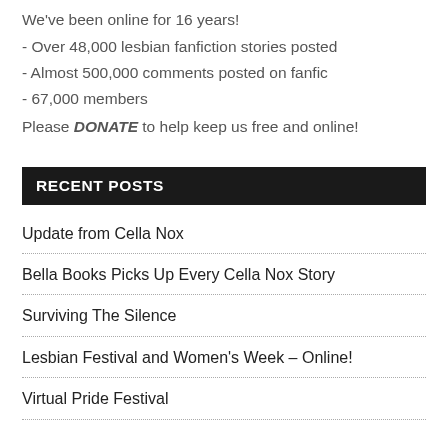We've been online for 16 years!
- Over 48,000 lesbian fanfiction stories posted
- Almost 500,000 comments posted on fanfic
- 67,000 members
Please DONATE to help keep us free and online!
RECENT POSTS
Update from Cella Nox
Bella Books Picks Up Every Cella Nox Story
Surviving The Silence
Lesbian Festival and Women's Week – Online!
Virtual Pride Festival